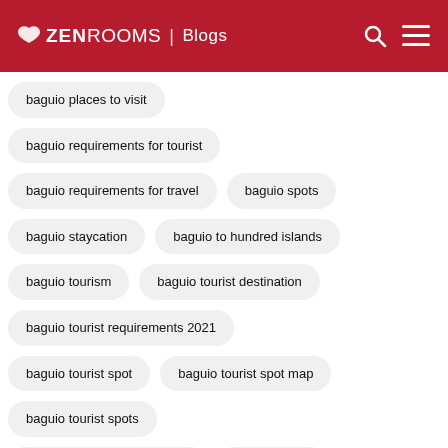ZenRooms | Blogs
baguio places to visit
baguio requirements for tourist
baguio requirements for travel
baguio spots
baguio staycation
baguio to hundred islands
baguio tourism
baguio tourist destination
baguio tourist requirements 2021
baguio tourist spot
baguio tourist spot map
baguio tourist spots
baguio tourist spots itinerary
baguio travel